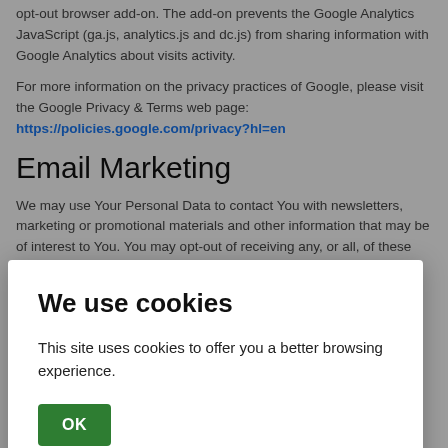opt-out browser add-on. The add-on prevents the Google Analytics JavaScript (ga.js, analytics.js and dc.js) from sharing information with Google Analytics about visits activity.
For more information on the privacy practices of Google, please visit the Google Privacy & Terms web page: https://policies.google.com/privacy?hl=en
Email Marketing
We may use Your Personal Data to contact You with newsletters, marketing or promotional materials and other information that may be of interest to You. You may opt-out of receiving any, or all, of these communications from Us by following the unsubscribe link or instructions
We use cookies
This site uses cookies to offer you a better browsing experience.
OK
Google Ads (AdWords)